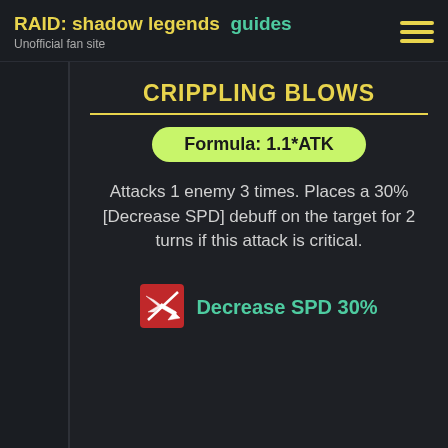RAID: shadow legends  guides
Unofficial fan site
CRIPPLING BLOWS
Attacks 1 enemy 3 times. Places a 30% [Decrease SPD] debuff on the target for 2 turns if this attack is critical.
Decrease SPD 30%